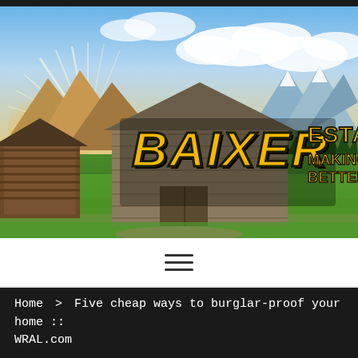[Figure (photo): Scenic landscape with mountain background, old wooden barn/log cabin, green fields, sunlight bursting through clouds, with BAIXER ESTATE - MAKING LIVING BETTER logo overlay in yellow distressed block letters]
[Figure (other): Hamburger menu icon with three horizontal lines]
Home > Five cheap ways to burglar-proof your home :: WRAL.com